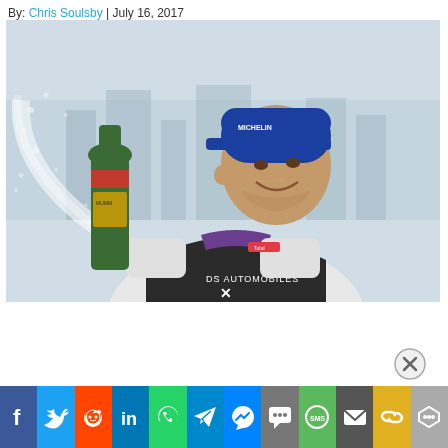By: Chris Soulsby | July 16, 2017
[Figure (photo): Racing driver in DS Automobiles Formula E suit holding a large champagne bottle on his shoulder, spraying champagne, wearing a blue Michelin cap, celebrating on a podium with city skyline in the background.]
[Figure (other): Close (X) button overlay on the page]